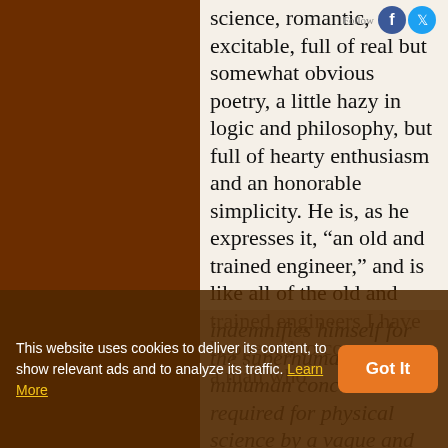science, romantic, excitable, full of real but somewhat obvious poetry, a little hazy in logic and philosophy, but full of hearty enthusiasm and an honorable simplicity. He is, as he expresses it, “an old and trained engineer,” and is like all of the old and trained engineers I have happened to come across, a man who indemnifies himself for the superhuman or minuman concentration required for physical science by a vague and
This website uses cookies to deliver its content, to show relevant ads and to analyze its traffic. Learn More